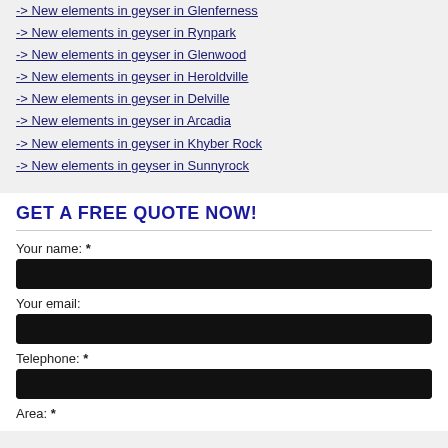-> New elements in geyser in Glenferness
-> New elements in geyser in Rynpark
-> New elements in geyser in Glenwood
-> New elements in geyser in Heroldville
-> New elements in geyser in Delville
-> New elements in geyser in Arcadia
-> New elements in geyser in Khyber Rock
-> New elements in geyser in Sunnyrock
GET A FREE QUOTE NOW!
Your name: *
Your email:
Telephone: *
Area: *